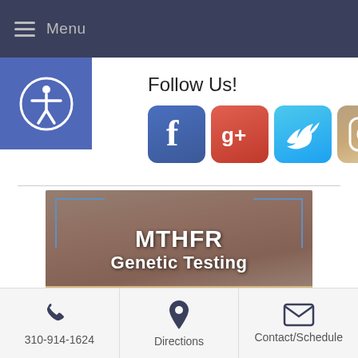Menu
Follow Us!
[Figure (illustration): Row of social media icons: Facebook, Google+, Twitter, Instagram, Pinterest, LinkedIn]
[Figure (photo): MTHFR Genetic Testing promotional banner with close-up of a mouth and bold white text reading MTHFR Genetic Testing]
310-914-1624  Directions  Contact/Schedule